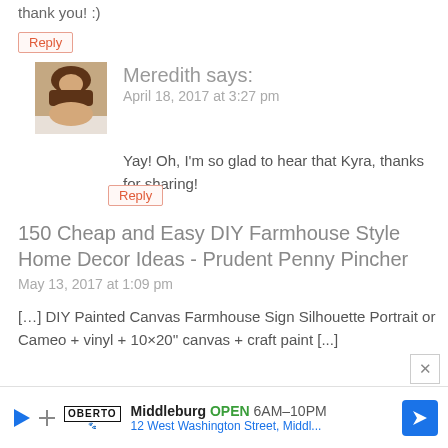thank you! :)
Reply
Meredith says:
April 18, 2017 at 3:27 pm
[Figure (photo): Profile photo of Meredith, a woman with brown hair]
Yay! Oh, I'm so glad to hear that Kyra, thanks for sharing!
Reply
150 Cheap and Easy DIY Farmhouse Style Home Decor Ideas - Prudent Penny Pincher
May 13, 2017 at 1:09 pm
[...] DIY Painted Canvas Farmhouse Sign Silhouette Portrait or Cameo + vinyl + 10×20'' canvas + craft paint [...]
[Figure (other): Oberto advertisement banner showing store hours for Middleburg: OPEN 6AM-10PM, 12 West Washington Street, Middl...]